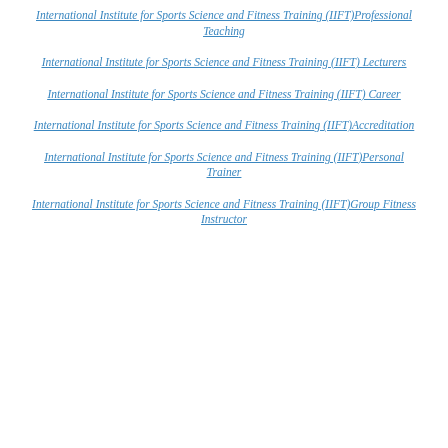International Institute for Sports Science and Fitness Training (IIFT)Professional Teaching
International Institute for Sports Science and Fitness Training (IIFT) Lecturers
International Institute for Sports Science and Fitness Training (IIFT) Career
International Institute for Sports Science and Fitness Training (IIFT)Accreditation
International Institute for Sports Science and Fitness Training (IIFT)Personal Trainer
International Institute for Sports Science and Fitness Training (IIFT)Group Fitness Instructor